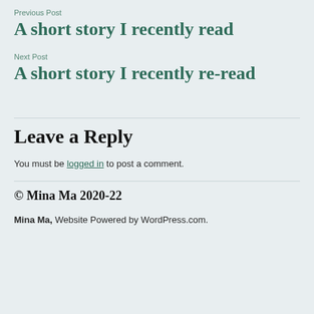Previous Post
A short story I recently read
Next Post
A short story I recently re-read
Leave a Reply
You must be logged in to post a comment.
© Mina Ma 2020-22
Mina Ma, Website Powered by WordPress.com.